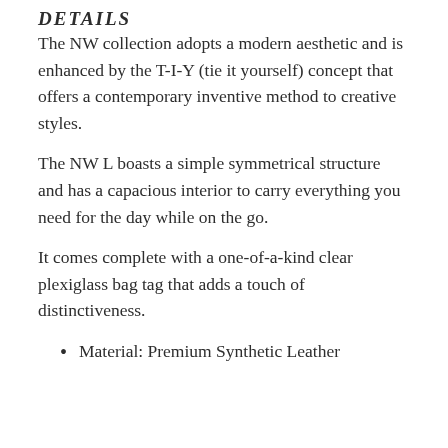DETAILS
The NW collection adopts a modern aesthetic and is enhanced by the T-I-Y (tie it yourself) concept that offers a contemporary inventive method to creative styles.
The NW L boasts a simple symmetrical structure and has a capacious interior to carry everything you need for the day while on the go.
It comes complete with a one-of-a-kind clear plexiglass bag tag that adds a touch of distinctiveness.
Material: Premium Synthetic Leather